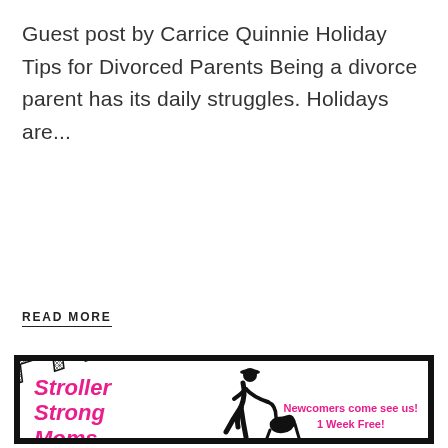Guest post by Carrice Quinnie Holiday Tips for Divorced Parents Being a divorce parent has its daily struggles. Holidays are...
READ MORE
[Figure (illustration): Stroller Strong Moms advertisement with pink bold italic text 'Stroller Strong Moms', silhouette of woman running with stroller, large diagonal 'FREE TRIAL' text with criss-cross pattern overlay, and pink text 'Newcomers come see us! 1 Week Free!' on white background with thick black border.]